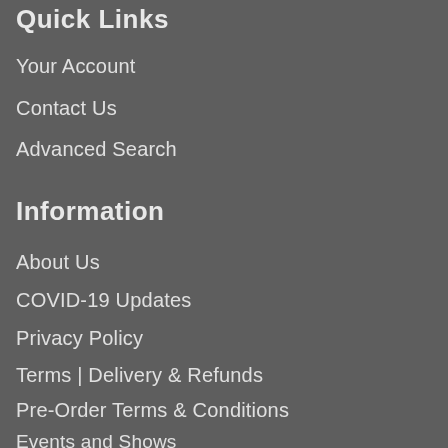Quick Links
Your Account
Contact Us
Advanced Search
Information
About Us
COVID-19 Updates
Privacy Policy
Terms | Delivery & Refunds
Pre-Order Terms & Conditions
Events and Shows
Gift Card Terms & Conditions